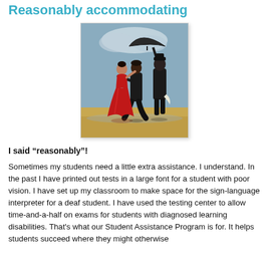Reasonably accommodating
[Figure (illustration): Painting of two people dancing — a woman in a red dress and a man in a black suit — with a third figure in black holding an umbrella, set on a reflective sandy beach with a cloudy sky background. Style resembles Jack Vettriano's 'The Singing Butler'.]
I said “reasonably”!
Sometimes my students need a little extra assistance. I understand. In the past I have printed out tests in a large font for a student with poor vision. I have set up my classroom to make space for the sign-language interpreter for a deaf student. I have used the testing center to allow time-and-a-half on exams for students with diagnosed learning disabilities. That's what our Student Assistance Program is for. It helps students succeed where they might otherwise